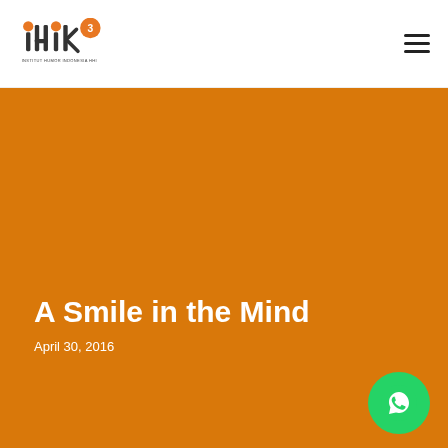[Figure (logo): ihik3 Institut Humor Indonesia logo with orange circular icon and text]
[Figure (other): Hamburger menu icon (three horizontal lines) in top right corner]
[Figure (other): Large orange hero banner covering most of the page]
A Smile in the Mind
April 30, 2016
[Figure (other): WhatsApp green circular button with phone/chat icon in bottom right]